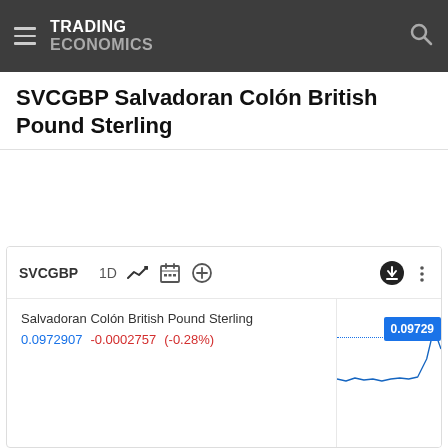TRADING ECONOMICS
SVCGBP Salvadoran Colón British Pound Sterling
[Figure (screenshot): Trading Economics widget showing SVCGBP currency pair chart with 1D timeframe, displaying Salvadoran Colón British Pound Sterling at 0.0972907, change -0.0002757 (-0.28%), with a price tag showing 0.09729 and a small line chart with upward spike at the right edge.]